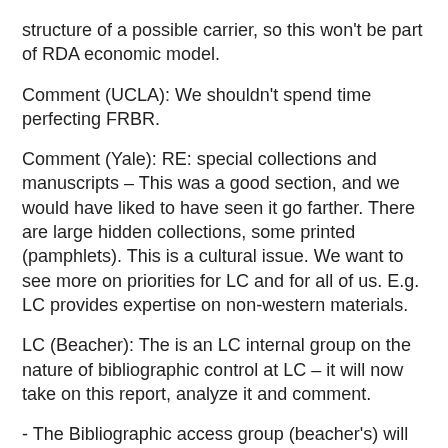structure of a possible carrier, so this won't be part of RDA economic model.
Comment (UCLA): We shouldn't spend time perfecting FRBR.
Comment (Yale): RE: special collections and manuscripts – This was a good section, and we would have liked to have seen it go farther. There are large hidden collections, some printed (pamphlets). This is a cultural issue. We want to see more on priorities for LC and for all of us. E.g. LC provides expertise on non-western materials.
LC (Beacher): The is an LC internal group on the nature of bibliographic control at LC – it will now take on this report, analyze it and comment.
- The Bibliographic access group (beacher's) will look at the report
- public services area will react.
The last two will come together to report to Deanna and the